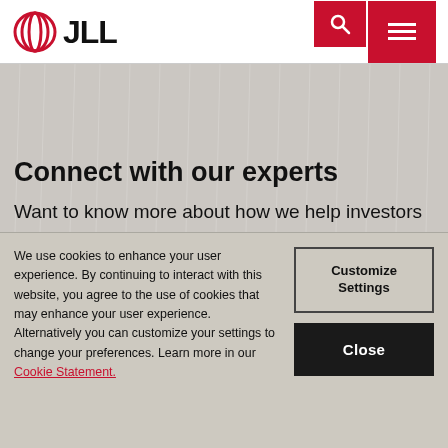JLL
Connect with our experts
Want to know more about how we help investors
We use cookies to enhance your user experience. By continuing to interact with this website, you agree to the use of cookies that may enhance your user experience. Alternatively you can customize your settings to change your preferences. Learn more in our Cookie Statement.
Customize Settings
Close